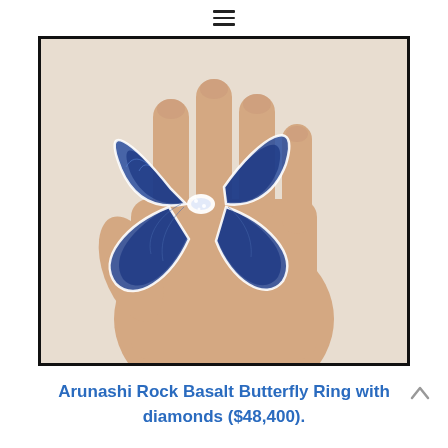≡
[Figure (photo): A mannequin hand wearing a large butterfly-shaped ring. The ring features blue and dark teal carved rock basalt wings with white diamond-encrusted borders, displayed on a peach-colored mannequin hand against a white background.]
Arunashi Rock Basalt Butterfly Ring with diamonds ($48,400).